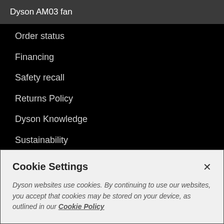Dyson AM03 fan
Order status
Financing
Safety recall
Returns Policy
Dyson Knowledge
Sustainability
Sitemap
James Dyson Biography
Cookie Settings
Dyson websites use cookies. By continuing to use our websites, you accept that cookies may be stored on your device, as outlined in our Cookie Policy